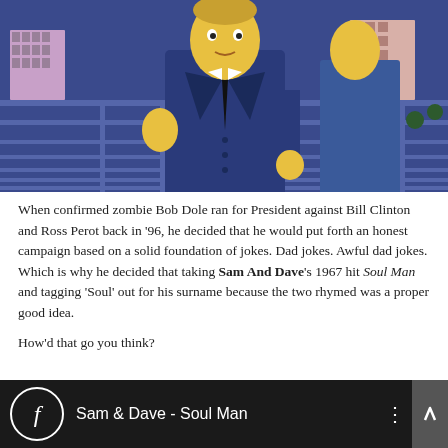[Figure (illustration): Screenshot from The Simpsons animated TV show showing a yellow-skinned character in a dark blue suit standing in front of an aerial view of a city with buildings and streets in blue tones.]
When confirmed zombie Bob Dole ran for President against Bill Clinton and Ross Perot back in ‘96, he decided that he would put forth an honest campaign based on a solid foundation of jokes. Dad jokes. Awful dad jokes. Which is why he decided that taking Sam And Dave’s 1967 hit Soul Man and tagging ‘Soul’ out for his surname because the two rhymed was a proper good idea.
How’d that go you think?
[Figure (screenshot): Video player bar with dark background showing a circular logo with italic 'f' letter and the title 'Sam & Dave - Soul Man' in white text, with a three-dot menu icon and an up arrow on the right side.]